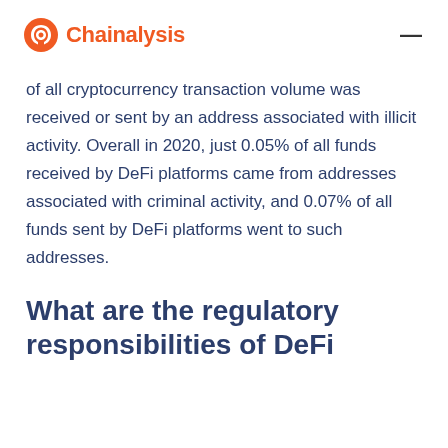Chainalysis
of all cryptocurrency transaction volume was received or sent by an address associated with illicit activity. Overall in 2020, just 0.05% of all funds received by DeFi platforms came from addresses associated with criminal activity, and 0.07% of all funds sent by DeFi platforms went to such addresses.
What are the regulatory responsibilities of DeFi